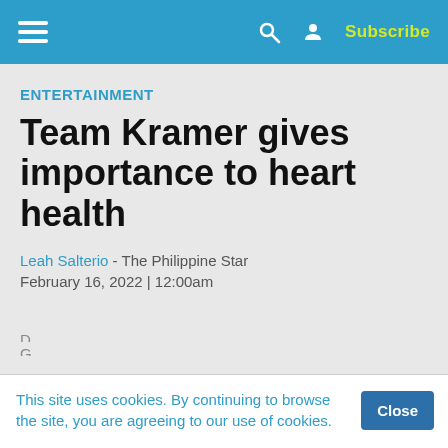ENTERTAINMENT – The Philippine Star (nav bar with hamburger menu, search, user icon, Subscribe)
ENTERTAINMENT
Team Kramer gives importance to heart health
Leah Salterio - The Philippine Star
February 16, 2022 | 12:00am
This site uses cookies. By continuing to browse the site, you are agreeing to our use of cookies.